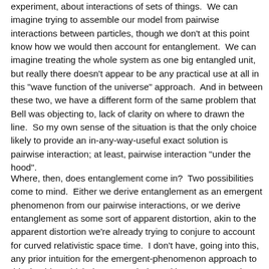experiment, about interactions of sets of things.  We can imagine trying to assemble our model from pairwise interactions between particles, though we don't at this point know how we would then account for entanglement.  We can imagine treating the whole system as one big entangled unit, but really there doesn't appear to be any practical use at all in this "wave function of the universe" approach.  And in between these two, we have a different form of the same problem that Bell was objecting to, lack of clarity on where to drawn the line.  So my own sense of the situation is that the only choice likely to provide an in-any-way-useful exact solution is pairwise interaction; at least, pairwise interaction "under the hood".
Where, then, does entanglement come in?  Two possibilities come to mind.  Either we derive entanglement as an emergent phenomenon from our pairwise interactions, or we derive entanglement as some sort of apparent distortion, akin to the apparent distortion we're already trying to conjure to account for curved relativistic space time.  I don't have, going into this, any prior intuition for the emergent-phenomenon approach to this, besides which there are minds working on some variant of it already (so I needn't